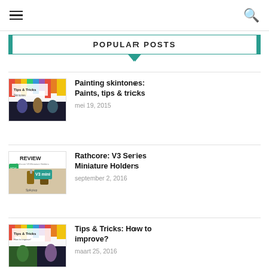☰  🔍
POPULAR POSTS
[Figure (photo): Thumbnail for 'Painting skintones' Tips & Tricks blog post showing painted miniature figures]
Painting skintones: Paints, tips & tricks
mei 19, 2015
[Figure (photo): Thumbnail for 'Rathcore V3 Series Miniature Holders' Review blog post]
Rathcore: V3 Series Miniature Holders
september 2, 2016
[Figure (photo): Thumbnail for 'Tips & Tricks: How to improve?' blog post showing painted miniature figures]
Tips & Tricks: How to improve?
maart 25, 2016